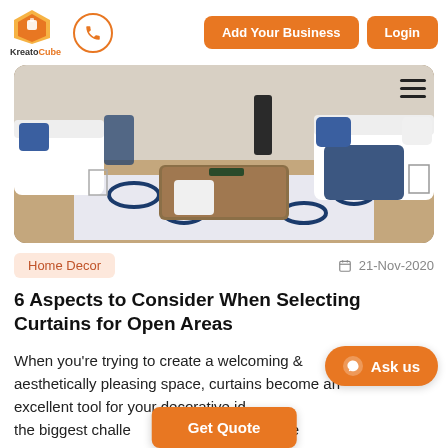KreatoCube | Add Your Business | Login
[Figure (photo): Interior living room with white sofas, blue and white patterned rug, and navy blue accent pillows and throw blanket.]
Home Decor
21-Nov-2020
6 Aspects to Consider When Selecting Curtains for Open Areas
When you're trying to create a welcoming & aesthetically pleasing space, curtains become an excellent tool for your decorative id… the biggest challe… comes to home